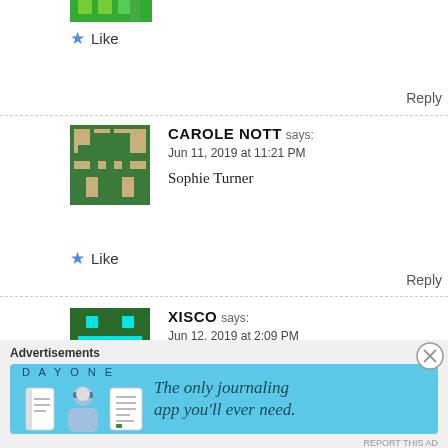[Figure (illustration): Partial green pixel-art avatar at top of page (cropped)]
★ Like
Reply
CAROLE NOTT says: Jun 11, 2019 at 11:21 PM
Sophie Turner
[Figure (illustration): Green and beige pixel-art avatar for Carole Nott]
★ Like
Reply
XISCO says: Jun 12, 2019 at 2:09 PM
Sophie Turner
[Figure (illustration): Green and cyan pixel-art avatar for Xisco]
★ Like
Advertisements
[Figure (illustration): Day One journaling app advertisement banner with blue background, app icons, and text: The only journaling app you'll ever need.]